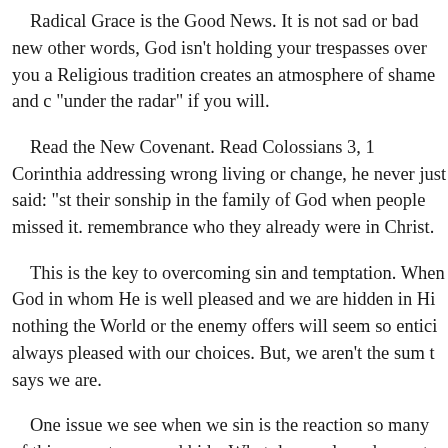Radical Grace is the Good News. It is not sad or bad new other words, God isn't holding your trespasses over you a Religious tradition creates an atmosphere of shame and c "under the radar" if you will.
Read the New Covenant. Read Colossians 3, 1 Corinthia addressing wrong living or change, he never just said: "st their sonship in the family of God when people missed it. remembrance who they already were in Christ.
This is the key to overcoming sin and temptation. When God in whom He is well pleased and we are hidden in Hi nothing the World or the enemy offers will seem so entici always pleased with our choices. But, we aren't the sum t says we are.
One issue we see when we sin is the reaction so many of this sense to run and hide. What do people endeavor to dc infidelity? They erase their browser history. They attempt